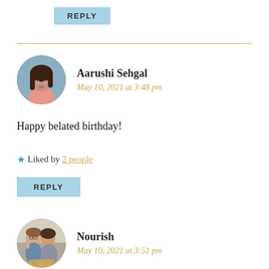REPLY
Aarushi Sehgal
May 10, 2021 at 3:48 pm
Happy belated birthday!
★ Liked by 2 people
REPLY
Nourish
May 10, 2021 at 3:51 pm